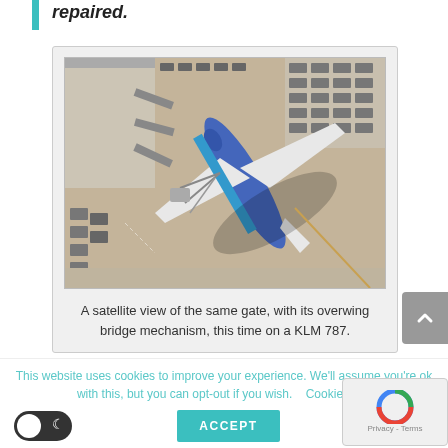repaired.
[Figure (photo): Aerial/satellite view of an airport gate with a blue KLM 787 aircraft connected to an overwing bridge mechanism, viewed from above.]
A satellite view of the same gate, with its overwing bridge mechanism, this time on a KLM 787.
This website uses cookies to improve your experience. We'll assume you're ok with this, but you can opt-out if you wish.    Cookie se...
ACCEPT